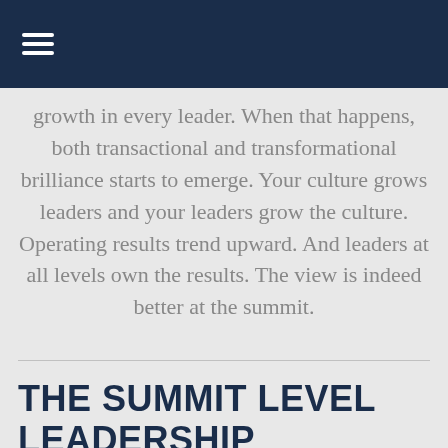≡
growth in every leader. When that happens, both transactional and transformational brilliance starts to emerge. Your culture grows leaders and your leaders grow the culture. Operating results trend upward. And leaders at all levels own the results. The view is indeed better at the summit.
THE SUMMIT LEVEL LEADERSHIP JOURNEY INVOLVES